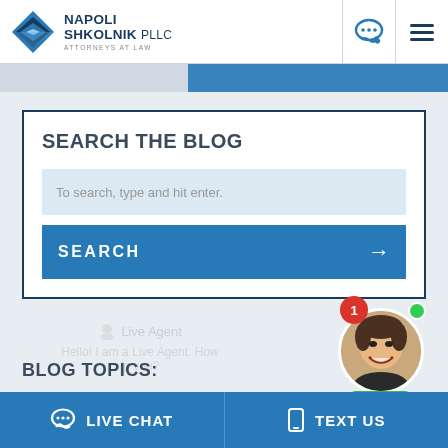NAPOLI SHKOLNIK PLLC ATTORNEYS AT LAW
SEARCH THE BLOG
To search, type and hit enter.
SEARCH →
BLOG TOPICS:
[Figure (screenshot): Live Agent chat widget showing an agent photo with badge number 1, green online dot, and Live Agent label]
LIVE CHAT   TEXT US